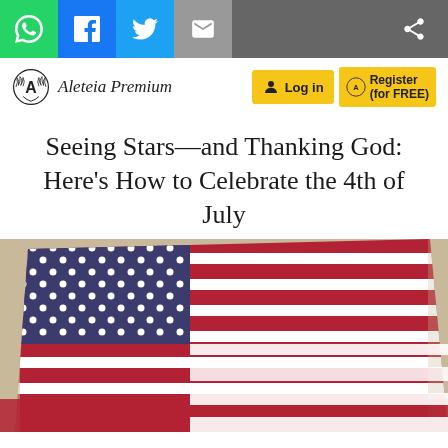Share bar with WhatsApp, Facebook, Twitter, Email, and More icons
[Figure (logo): Aleteia Premium logo with laurel wreath emblem and italic text]
Log in
Register (for FREE)
Seeing Stars—and Thanking God: Here's How to Celebrate the 4th of July
[Figure (photo): Close-up photo of an American flag waving, showing stars and red/white stripes against a blurred background]